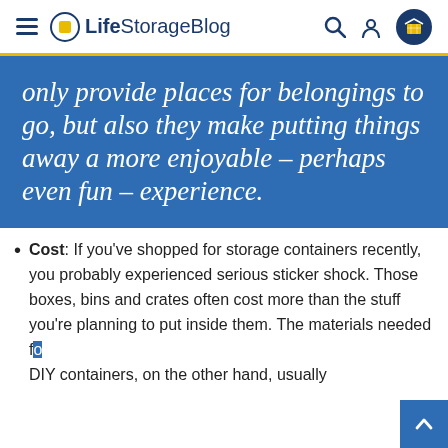Life Storage Blog
only provide places for belongings to go, but also they make putting things away a more enjoyable – perhaps even fun – experience.
Cost: If you've shopped for storage containers recently, you probably experienced serious sticker shock. Those boxes, bins and crates often cost more than the stuff you're planning to put inside them. The materials needed for DIY containers, on the other hand, usually